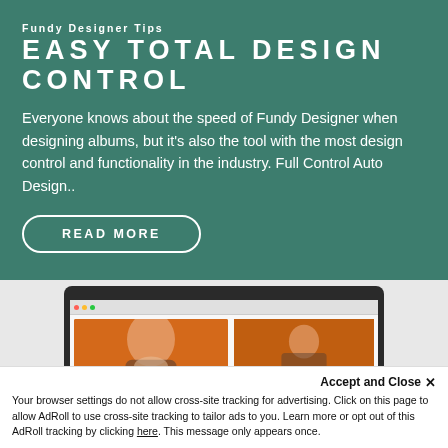Fundy Designer Tips
EASY TOTAL DESIGN CONTROL
Everyone knows about the speed of Fundy Designer when designing albums, but it's also the tool with the most design control and functionality in the industry. Full Control Auto Design..
READ MORE
[Figure (screenshot): Screenshot of Fundy Designer software showing wedding photo album design with couple photos in orange/autumn background, displayed in a dark-framed laptop/monitor bezel]
Accept and Close ✕
Your browser settings do not allow cross-site tracking for advertising. Click on this page to allow AdRoll to use cross-site tracking to tailor ads to you. Learn more or opt out of this AdRoll tracking by clicking here. This message only appears once.